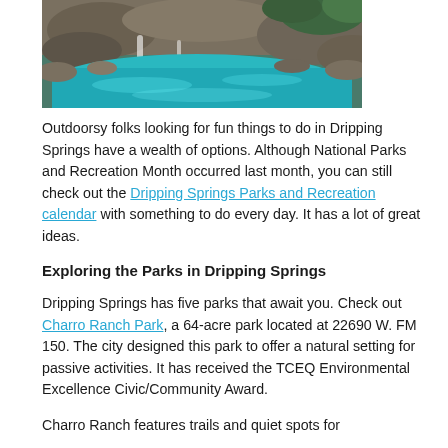[Figure (photo): A turquoise natural pool or spring surrounded by rocks and green trees/vegetation, viewed from above.]
Outdoorsy folks looking for fun things to do in Dripping Springs have a wealth of options. Although National Parks and Recreation Month occurred last month, you can still check out the Dripping Springs Parks and Recreation calendar with something to do every day. It has a lot of great ideas.
Exploring the Parks in Dripping Springs
Dripping Springs has five parks that await you. Check out Charro Ranch Park, a 64-acre park located at 22690 W. FM 150. The city designed this park to offer a natural setting for passive activities. It has received the TCEQ Environmental Excellence Civic/Community Award.
Charro Ranch features trails and quiet spots for